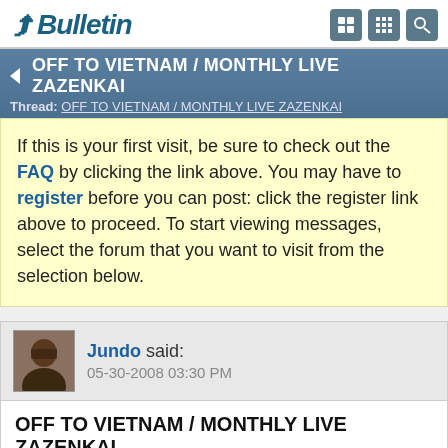vBulletin
OFF TO VIETNAM / MONTHLY LIVE ZAZENKAI
Thread: OFF TO VIETNAM / MONTHLY LIVE ZAZENKAI
If this is your first visit, be sure to check out the FAQ by clicking the link above. You may have to register before you can post: click the register link above to proceed. To start viewing messages, select the forum that you want to visit from the selection below.
Jundo said: 05-30-2008 03:30 PM
OFF TO VIETNAM / MONTHLY LIVE ZAZENKAI
Hi,
Two things to write about:
I am heading for a plane to Vietnam in a few hours. Internet